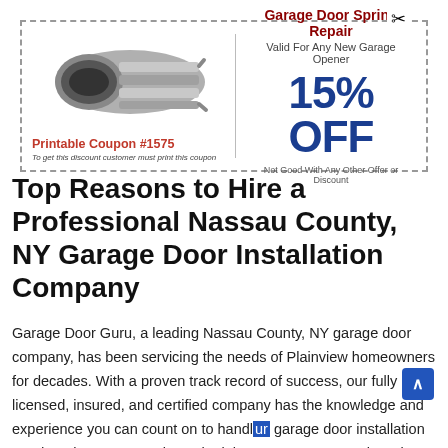[Figure (other): Printable coupon for Garage Door Spring Repair. Left side shows an image of garage door springs, with text 'Printable Coupon #1575' and 'To get this discount customer must print this coupon.' Right side shows 'Garage Door Spring Repair', 'Valid For Any New Garage Opener', '15% OFF', 'Not Good With Any Other Offer or Discount.']
Top Reasons to Hire a Professional Nassau County, NY Garage Door Installation Company
Garage Door Guru, a leading Nassau County, NY garage door company, has been servicing the needs of Plainview homeowners for decades. With a proven track record of success, our fully licensed, insured, and certified company has the knowledge and experience you can count on to handle your garage door installation needs. When our team is on the job, you can rest easy knowing that you'll receive the highest quality